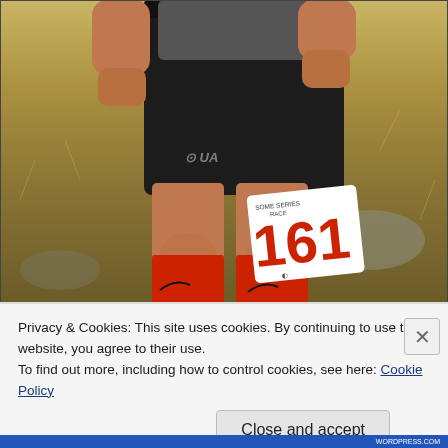[Figure (photo): A runner wearing black Under Armour shorts, gray compression shirt, and red compression socks/sleeves, with race bib number 161 attached to their thigh. The background shows dry grass and rocky terrain typical of a trail run.]
Privacy & Cookies: This site uses cookies. By continuing to use this website, you agree to their use.
To find out more, including how to control cookies, see here: Cookie Policy
Close and accept